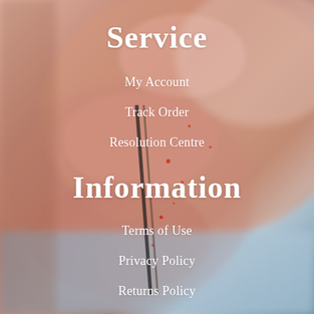[Figure (photo): Close-up photo of a human hand (fingers) holding a surgical instrument, with blood droplets visible on the skin. Background is blurred blue-grey tones in lower portion.]
Service
My Account
Track Order
Resolution Centre
Information
Terms of Use
Privacy Policy
Returns Policy